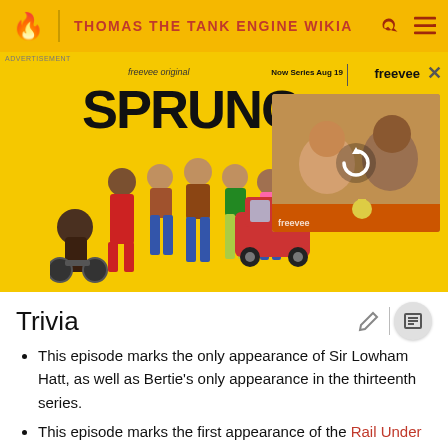THOMAS THE TANK ENGINE WIKIA
[Figure (screenshot): Advertisement for 'Sprung' Freevee original series. Yellow background with cast members standing, bold title 'SPRUNG', text 'Now Series Aug 19 | freevee', and a video thumbnail showing two people in a car.]
Trivia
This episode marks the only appearance of Sir Lowham Hatt, as well as Bertie's only appearance in the thirteenth series.
This episode marks the first appearance of the Rail Under Road Bridge and Signalbox since Thomas and the Magic Railroad, its first appearance in an episode